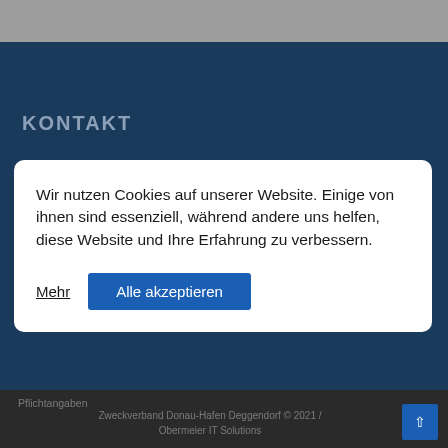KONTAKT
Wir nutzen Cookies auf unserer Website. Einige von ihnen sind essenziell, während andere uns helfen, diese Website und Ihre Erfahrung zu verbessern.
Mehr
Alle akzeptieren
Pflichtangaben
Zweckverband Donau-Hafen Deggendorf © 2021 / Obermeier IT Solutions